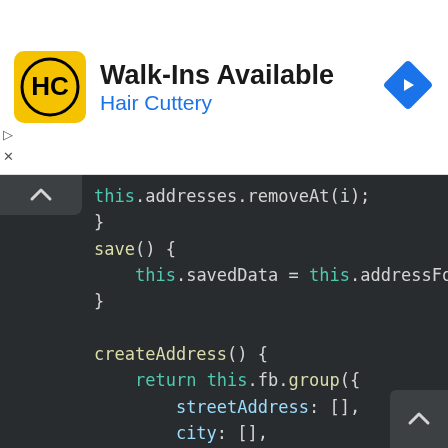[Figure (screenshot): Hair Cuttery advertisement banner with yellow logo, 'Walk-Ins Available' heading, and blue 'Hair Cuttery' subtitle]
[Figure (screenshot): Dark-themed code editor screenshot showing TypeScript/JavaScript code with methods: removeAt, save, and createAddress, using this.addresses, this.savedData, this.addressForm, this.fb.group with streetAddress, city, state, zip fields]